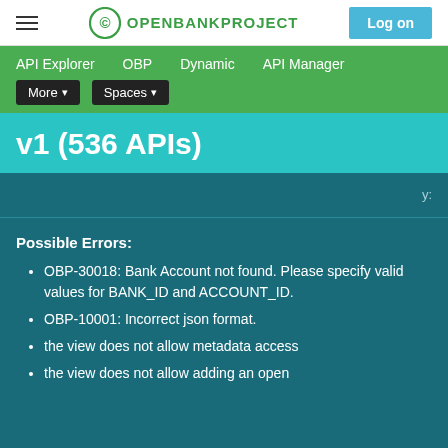OPENBANKPROJECT  Log on
API Explorer  OBP  Dynamic  API Manager  More  Spaces
v1 (536 APIs)
Possible Errors:
OBP-30018: Bank Account not found. Please specify valid values for BANK_ID and ACCOUNT_ID.
OBP-10001: Incorrect json format.
the view does not allow metadata access
the view does not allow adding an open